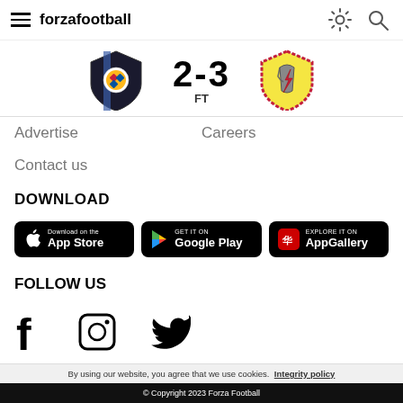forza football
[Figure (infographic): Match score display: left team badge (blue/black shield with Steelers-style logo), score 2-3 FT in center, right team badge (shield with knight/lightning bolt)]
Advertise
Careers
Contact us
DOWNLOAD
[Figure (screenshot): Three app store download buttons: Download on the App Store, GET IT ON Google Play, EXPLORE IT ON AppGallery]
FOLLOW US
[Figure (infographic): Social media icons: Facebook (f), Instagram (square O), Twitter (bird)]
© Copyright 2023 Forza Football
By using our website, you agree that we use cookies. Integrity policy